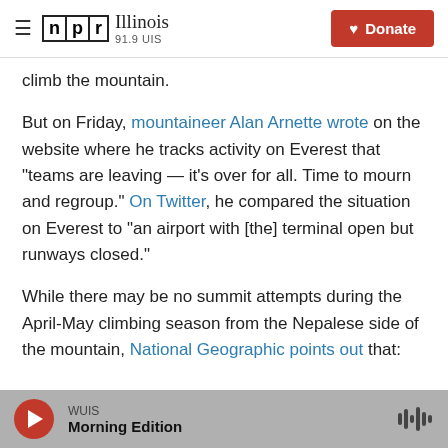NPR Illinois 91.9 UIS | Donate
climb the mountain.
But on Friday, mountaineer Alan Arnette wrote on the website where he tracks activity on Everest that "teams are leaving — it's over for all. Time to mourn and regroup." On Twitter, he compared the situation on Everest to "an airport with [the] terminal open but runways closed."
While there may be no summit attempts during the April-May climbing season from the Nepalese side of the mountain, National Geographic points out that:
WUIS Morning Edition